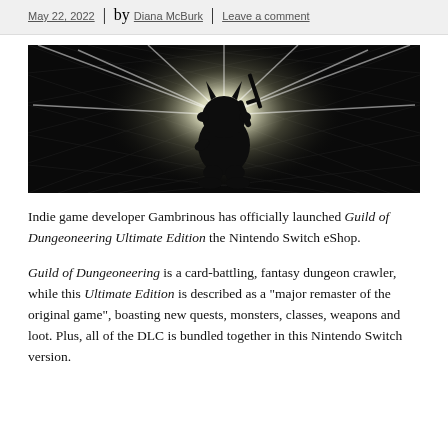Posted on May 22, 2022 | by Diana McBurk | Leave a comment
[Figure (illustration): Dark silhouette of a small horned creature holding a sword against a bright starburst light background with a dark crosshatch pattern]
Indie game developer Gambrinous has officially launched Guild of Dungeoneering Ultimate Edition the Nintendo Switch eShop.
Guild of Dungeoneering is a card-battling, fantasy dungeon crawler, while this Ultimate Edition is described as a “major remaster of the original game”, boasting new quests, monsters, classes, weapons and loot. Plus, all of the DLC is bundled together in this Nintendo Switch version.